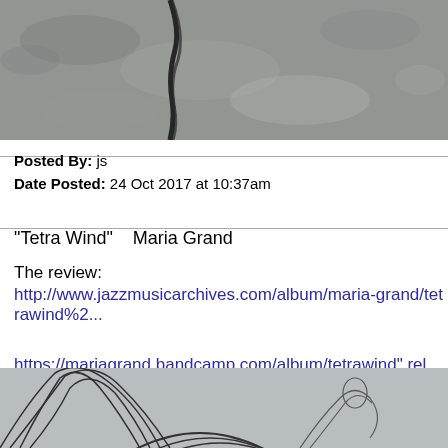[Figure (photo): Black and white close-up photograph of rocky, textured ground with a dark crack or crevice running through it.]
Posted By: js
Date Posted: 24 Oct 2017 at 10:37am
"Tetra Wind"    Maria Grand

The review:
http://www.jazzmusicarchives.com/album/maria-grand/tetrawind%2...


https://mariagrand.bandcamp.com/album/tetrawind" rel="nofollow -
[Figure (photo): Partial black and white image showing geometric line art design with curved and angular patterns, possibly album artwork.]